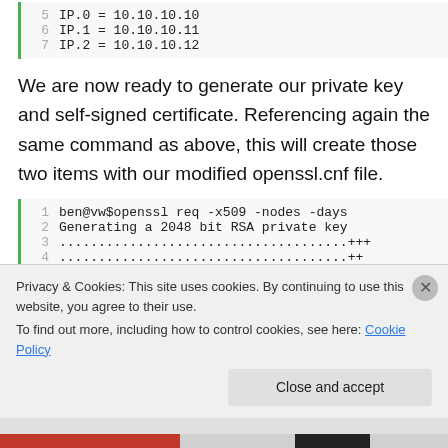[Figure (screenshot): Code block showing lines 5-7 of IP address configuration: IP.0 = 10.10.10.10, IP.1 = 10.10.10.11, IP.2 = 10.10.10.12]
We are now ready to generate our private key and self-signed certificate. Referencing again the same command as above, this will create those two items with our modified openssl.cnf file.
[Figure (screenshot): Code block showing lines 1-6+ of openssl command output: 1: ben@vw$openssl req -x509 -nodes -days, 2: Generating a 2048 bit RSA private key, 3: .....................................+++, 4: .....................................++, 5: writing new private key to 'newprivke, 6: -----]
Privacy & Cookies: This site uses cookies. By continuing to use this website, you agree to their use.
To find out more, including how to control cookies, see here: Cookie Policy